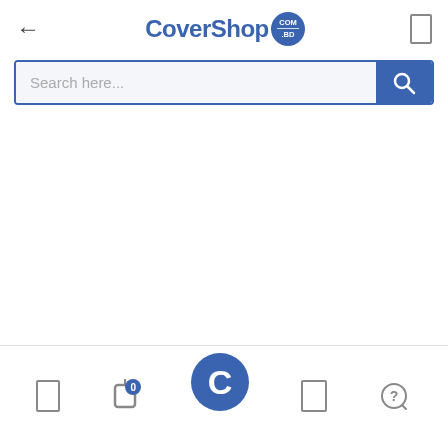[Figure (screenshot): CoverShop.com.bd mobile app header with back arrow on left, CoverShop logo in center (blue text with circular badge showing COM.BD), and rectangular icon on right]
[Figure (screenshot): Search bar with placeholder text 'Search here...' and blue search button with magnifying glass icon on the right]
[Figure (screenshot): Bottom navigation bar with home icon, notification bell icon with badge showing 0, large blue circle C logo button in center, tabs icon, and chat/help icon with question mark]